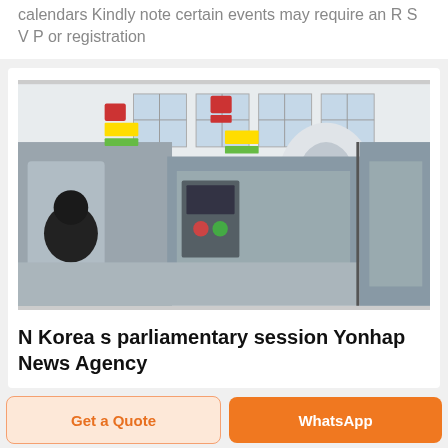calendars Kindly note certain events may require an R S V P or registration
[Figure (photo): A worker in a factory operating or inspecting industrial printing/packaging machinery. The machines are stainless steel and large. The room has multiple windows and bright lighting.]
N Korea s parliamentary session Yonhap News Agency
Get a Quote
WhatsApp